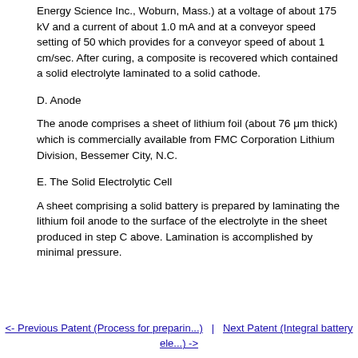Energy Science Inc., Woburn, Mass.) at a voltage of about 175 kV and a current of about 1.0 mA and at a conveyor speed setting of 50 which provides for a conveyor speed of about 1 cm/sec. After curing, a composite is recovered which contained a solid electrolyte laminated to a solid cathode.
D. Anode
The anode comprises a sheet of lithium foil (about 76 μm thick) which is commercially available from FMC Corporation Lithium Division, Bessemer City, N.C.
E. The Solid Electrolytic Cell
A sheet comprising a solid battery is prepared by laminating the lithium foil anode to the surface of the electrolyte in the sheet produced in step C above. Lamination is accomplished by minimal pressure.
<- Previous Patent (Process for preparin...) | Next Patent (Integral battery ele...) ->